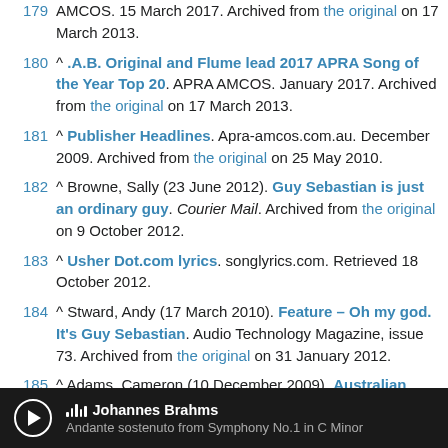179 ^ ...AMCOS. 15 March 2017. Archived from the original on 17 March 2013.
180 ^ .A.B. Original and Flume lead 2017 APRA Song of the Year Top 20. APRA AMCOS. January 2017. Archived from the original on 17 March 2013.
181 ^ Publisher Headlines. Apra-amcos.com.au. December 2009. Archived from the original on 25 May 2010.
182 ^ Browne, Sally (23 June 2012). Guy Sebastian is just an ordinary guy. Courier Mail. Archived from the original on 9 October 2012.
183 ^ Usher Dot.com lyrics. songlyrics.com. Retrieved 18 October 2012.
184 ^ Stward, Andy (17 March 2010). Feature – Oh my god. It's Guy Sebastian. Audio Technology Magazine, issue 73. Archived from the original on 31 January 2012.
185 ^ Adams, Cameron (10 December 2009). Australian Idol's Stan Walker's debut album. Herald Sun. Archived from the original on 22 January 2012.
[Figure (other): Media player bar showing play button, waveform icon, artist name Johannes Brahms, and track title Andante sostenuto from Symphony No.1 in C Minor]